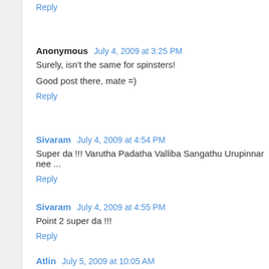Reply
Anonymous  July 4, 2009 at 3:25 PM
Surely, isn't the same for spinsters!
Good post there, mate =)
Reply
Sivaram  July 4, 2009 at 4:54 PM
Super da !!! Varutha Padatha Valliba Sangathu Urupinnar nee ...
Reply
Sivaram  July 4, 2009 at 4:55 PM
Point 2 super da !!!
Reply
Atlin  July 5, 2009 at 10:05 AM